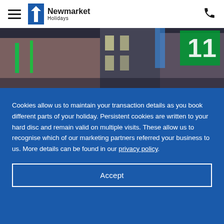Newmarket Holidays — navigation header with hamburger menu, logo, and phone icon
[Figure (photo): Hotel exterior at night with green illuminated sign and blue lighting]
Cookies allow us to maintain your transaction details as you book different parts of your holiday. Persistent cookies are written to your hard disc and remain valid on multiple visits. These allow us to recognise which of our marketing partners referred your business to us. More details can be found in our privacy policy.
Accept